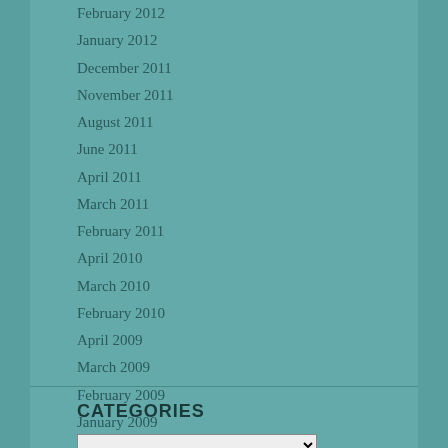February 2012
January 2012
December 2011
November 2011
August 2011
June 2011
April 2011
March 2011
February 2011
April 2010
March 2010
February 2010
April 2009
March 2009
February 2009
January 2009
December 2008
CATEGORIES